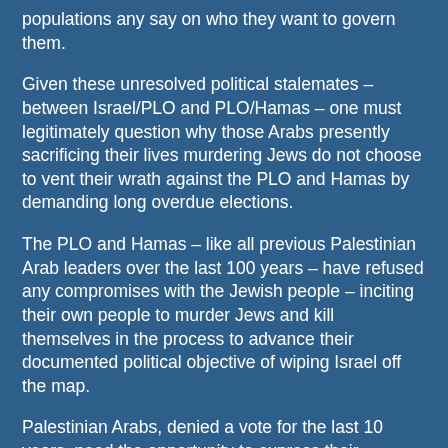populations any say on who they want to govern them.
Given these unresolved political stalemates – between Israel/PLO and PLO/Hamas – one must legitimately question why those Arabs presently sacrificing their lives murdering Jews do not choose to vent their wrath against the PLO and Hamas by demanding long overdue elections.
The PLO and Hamas – like all previous Palestinian Arab leaders over the last 100 years – have refused any compromises with the Jewish people – inciting their own people to murder Jews and kill themselves in the process to advance their documented political objective of wiping Israel off the map.
Palestinian Arabs, denied a vote for the last 10 years, need the opportunity to express their continuing support or rejection of these policies.
Elections enabling fresh political parties to emerge with alternative leaderships offering new ideas on making peace with Israel appear as far away as ever.